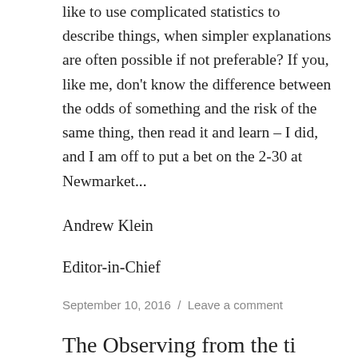like to use complicated statistics to describe things, when simpler explanations are often possible if not preferable? If you, like me, don't know the difference between the odds of something and the risk of the same thing, then read it and learn – I did, and I am off to put a bet on the 2-30 at Newmarket...
Andrew Klein
Editor-in-Chief
September 10, 2016  /  Leave a comment
The Observing from the ti...